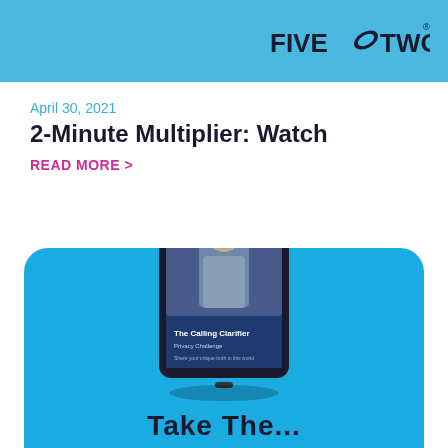FIVE TWO
April 30, 2021
2-Minute Multiplier: Watch
READ MORE >
[Figure (illustration): Blue rounded card with a tablet device showing 'The Calling Clarifier' resource, and partial bold text at the bottom reading 'Take The...']